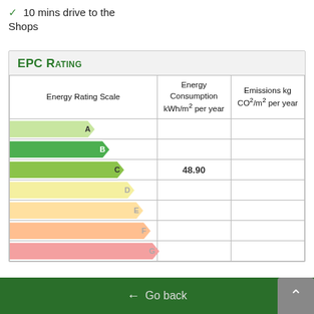✓ 10 mins drive to the Shops
EPC Rating
| Energy Rating Scale | Energy Consumption kWh/m² per year | Emissions kg CO²/m² per year |
| --- | --- | --- |
| A |  |  |
| B |  | 8.70 |
| C | 48.90 |  |
| D |  |  |
| E |  |  |
| F |  |  |
| G |  |  |
← Go back